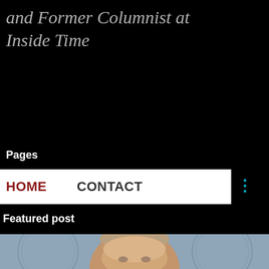and Former Columnist at Inside Time
Pages
HOME
CONTACT
Featured post
[Figure (photo): Headshot of a man with short grey-blonde hair against a blue official seal background]